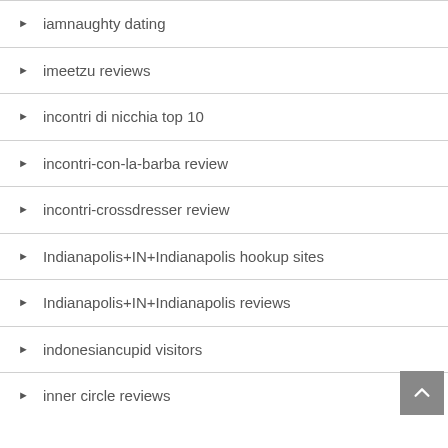iamnaughty dating
imeetzu reviews
incontri di nicchia top 10
incontri-con-la-barba review
incontri-crossdresser review
Indianapolis+IN+Indianapolis hookup sites
Indianapolis+IN+Indianapolis reviews
indonesiancupid visitors
inner circle reviews